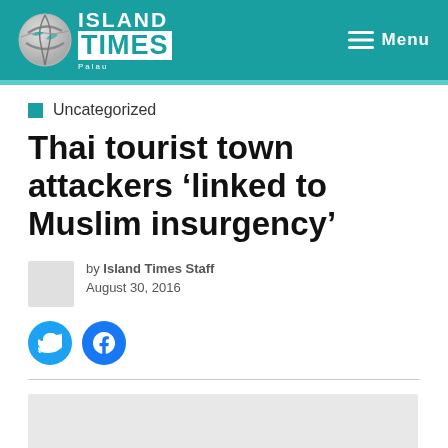Island Times Palau — Menu
Uncategorized
Thai tourist town attackers 'linked to Muslim insurgency'
by Island Times Staff
August 30, 2016